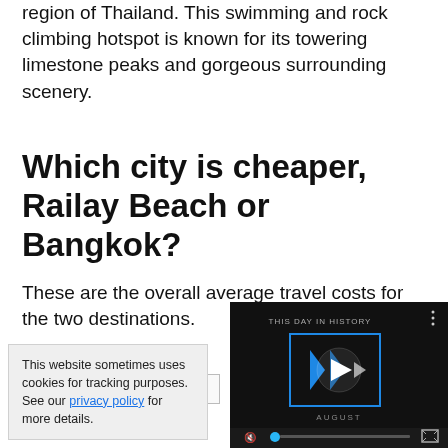region of Thailand. This swimming and rock climbing hotspot is known for its towering limestone peaks and gorgeous surrounding scenery.
Which city is cheaper, Railay Beach or Bangkok?
These are the overall average travel costs for the two destinations.
Convert Currency:
Dollar (United State...
This website sometimes uses cookies for tracking purposes. See our privacy policy for more details.
[Figure (screenshot): Video player showing 'This Day in History' with play button and mute/fullscreen controls on dark background]